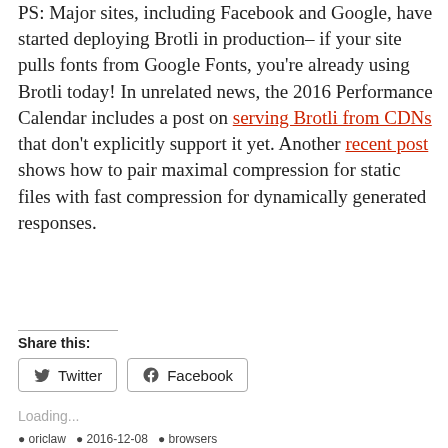PS: Major sites, including Facebook and Google, have started deploying Brotli in production– if your site pulls fonts from Google Fonts, you're already using Brotli today! In unrelated news, the 2016 Performance Calendar includes a post on serving Brotli from CDNs that don't explicitly support it yet. Another recent post shows how to pair maximal compression for static files with fast compression for dynamically generated responses.
Share this:
Twitter  Facebook
Loading...
oriclaw  2016-12-08  browsers